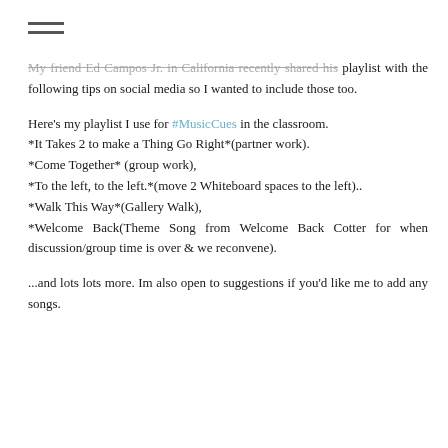hamburger menu icon
My friend Ed Campos Jr. in California recently shared his playlist with the following tips on social media so I wanted to include those too.
Here's my playlist I use for #MusicCues in the classroom. *It Takes 2 to make a Thing Go Right*(partner work). *Come Together* (group work), *To the left, to the left.*(move 2 Whiteboard spaces to the left).. *Walk This Way*(Gallery Walk), *Welcome Back(Theme Song from Welcome Back Cotter for when discussion/group time is over & we reconvene).
...and lots lots more. Im also open to suggestions if you'd like me to add any songs.